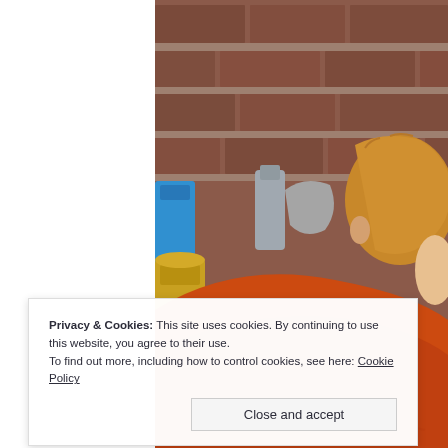[Figure (photo): Photograph showing a child with red/auburn hair and an orange shirt in front of a brick wall background, with yellow containers visible. The image is cropped showing mainly the back/side of the child's head and orange clothing.]
Privacy & Cookies: This site uses cookies. By continuing to use this website, you agree to their use.
To find out more, including how to control cookies, see here: Cookie Policy
Close and accept